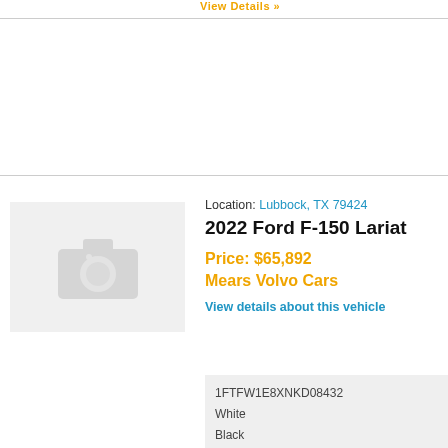View Details »
[Figure (photo): Placeholder camera icon image for vehicle listing]
Location: Lubbock, TX 79424
2022 Ford F-150 Lariat
Price: $65,892
Mears Volvo Cars
View details about this vehicle
| 1FTFW1E8XNKD08432 |
| White |
| Black |
| V6 EcoBoost 3-5L |
| 10-Speed Automatic |